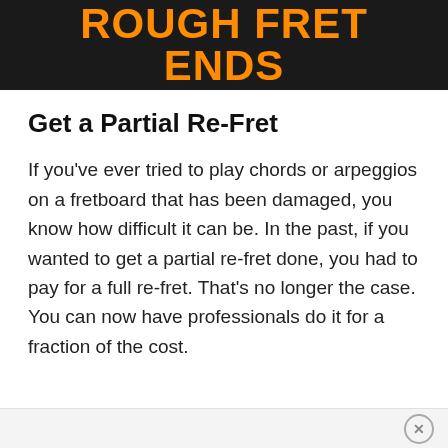[Figure (other): Dark banner image with bold orange text reading ROUGH FRET ENDS on a dark/black background]
Get a Partial Re-Fret
If you've ever tried to play chords or arpeggios on a fretboard that has been damaged, you know how difficult it can be. In the past, if you wanted to get a partial re-fret done, you had to pay for a full re-fret. That's no longer the case. You can now have professionals do it for a fraction of the cost.